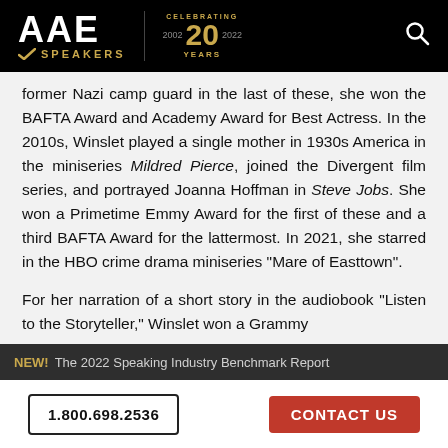AAE SPEAKERS — Celebrating 20 Years
former Nazi camp guard in the last of these, she won the BAFTA Award and Academy Award for Best Actress. In the 2010s, Winslet played a single mother in 1930s America in the miniseries Mildred Pierce, joined the Divergent film series, and portrayed Joanna Hoffman in Steve Jobs. She won a Primetime Emmy Award for the first of these and a third BAFTA Award for the lattermost. In 2021, she starred in the HBO crime drama miniseries "Mare of Easttown".
For her narration of a short story in the audiobook "Listen to the Storyteller," Winslet won a Grammy
NEW! The 2022 Speaking Industry Benchmark Report
1.800.698.2536   CONTACT US